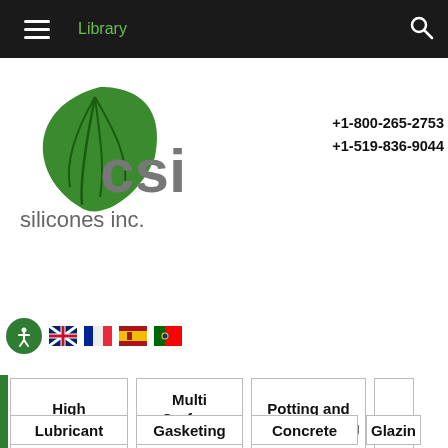Library
[Figure (logo): CSI Silicones Inc. logo with green leaf icon]
+1-800-265-2753
+1-519-836-9044
[Figure (infographic): Accessibility icon and language flag icons for French, Spanish, Portuguese]
High Temperature
Multi Surface Primer
Potting and Encapsulating
Lubricant
Gasketing
Concrete
Glazing